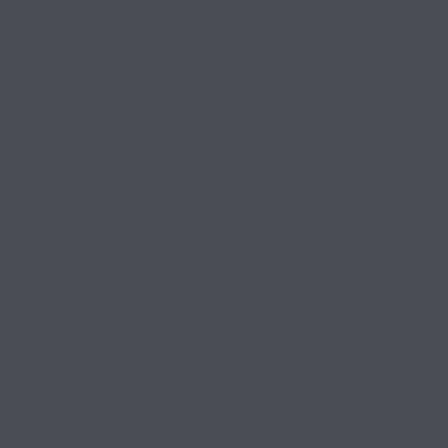always need to worry that a competitor will undercut your price. But normally you can also assume that they'll be restrained in their pricing by the need to maintain profits of their own. Apple is unusual in this regard. Wall Street treats Apple as a company that just needs to think about growth now and profits and model later. Which means that Apple's competitors have no recourse. Your profits are gone and Wall Street are going to punish you for it because you don't necessarily need to grow proportionally enough that they can poach your market sh...
EDDY CUE ★
Terrific profile of Eddy Cue by Gre...
Cue built even more credibility by demonstrating good intentions. In 2004, Cue stated that Apple was not interested in selling media as a business — it made a better margin in iPods than i...